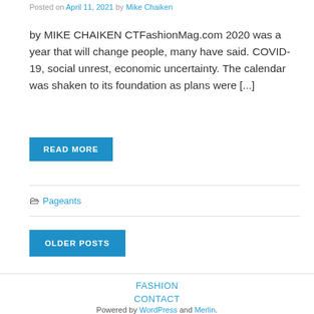Posted on April 11, 2021 by Mike Chaiken
by MIKE CHAIKEN CTFashionMag.com 2020 was a year that will change people, many have said. COVID-19, social unrest, economic uncertainty. The calendar was shaken to its foundation as plans were [...]
READ MORE
📁 Pageants
OLDER POSTS
FASHION
CONTACT
Powered by WordPress and Merlin.